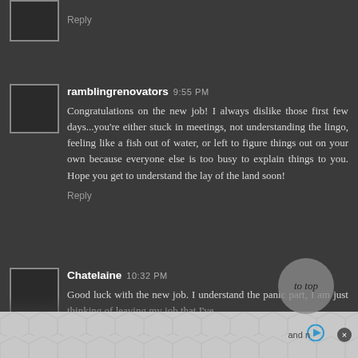Reply
ramblingrenovators 9:55 PM
Congratulations on the new job! I always dislike those first few days...you're either stuck in meetings, not understanding the lingo, feeling like a fish out of water, or left to figure things out on your own because everyone else is too busy to explain things to you. Hope you get to understand the lay of the land soon!
Reply
Chatelaine 10:32 PM
Good luck with the new job. I understand the panic part, I am just thinking of leaving my job that I've had for...